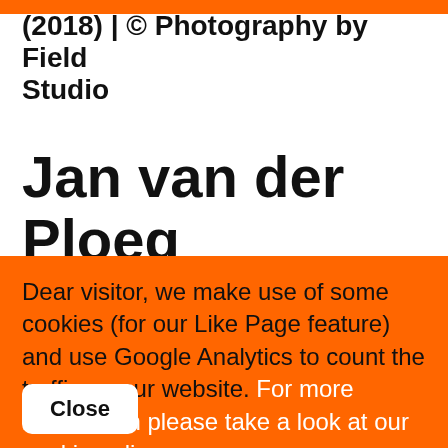(2018) | © Photography by Field Studio
Jan van der Ploeg
Jan van der Ploeg (b. 1959, Amsterdam) graduated from the Gerrit Rietveld
Dear visitor, we make use of some cookies (for our Like Page feature) and use Google Analytics to count the traffic on our website. For more information please take a look at our cookie policy.
Close